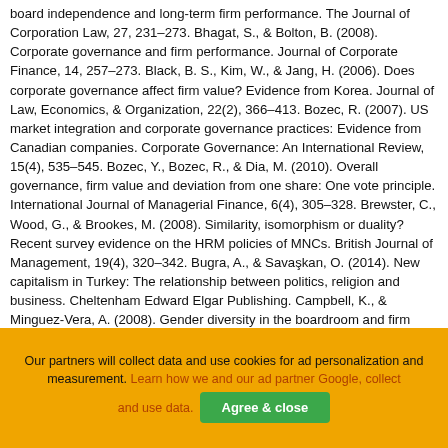board independence and long-term firm performance. The Journal of Corporation Law, 27, 231–273. Bhagat, S., & Bolton, B. (2008). Corporate governance and firm performance. Journal of Corporate Finance, 14, 257–273. Black, B. S., Kim, W., & Jang, H. (2006). Does corporate governance affect firm value? Evidence from Korea. Journal of Law, Economics, & Organization, 22(2), 366–413. Bozec, R. (2007). US market integration and corporate governance practices: Evidence from Canadian companies. Corporate Governance: An International Review, 15(4), 535–545. Bozec, Y., Bozec, R., & Dia, M. (2010). Overall governance, firm value and deviation from one share: One vote principle. International Journal of Managerial Finance, 6(4), 305–328. Brewster, C., Wood, G., & Brookes, M. (2008). Similarity, isomorphism or duality? Recent survey evidence on the HRM policies of MNCs. British Journal of Management, 19(4), 320–342. Bugra, A., & Savaşkan, O. (2014). New capitalism in Turkey: The relationship between politics, religion and business. Cheltenham Edward Elgar Publishing. Campbell, K., & Minguez-Vera, A. (2008). Gender diversity in the boardroom and firm financial performance. Journal of Business Ethics, 83, 435–451.
Our partners will collect data and use cookies for ad personalization and measurement. Learn how we and our ad partner Google, collect and use data. [Agree & close]